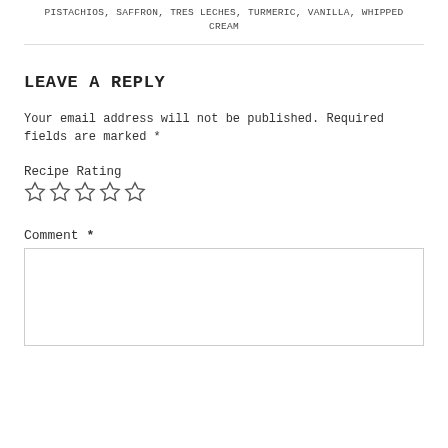PISTACHIOS, SAFFRON, TRES LECHES, TURMERIC, VANILLA, WHIPPED CREAM
LEAVE A REPLY
Your email address will not be published. Required fields are marked *
Recipe Rating
[Figure (other): Five empty star icons for recipe rating]
Comment *
[Figure (other): Empty comment text area input box]